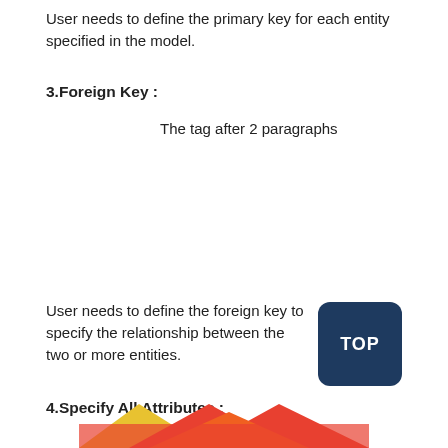User needs to define the primary key for each entity specified in the model.
3.Foreign Key :
The tag after 2 paragraphs
User needs to define the foreign key to specify the relationship between the two or more entities.
4.Specify All Attributes :
[Figure (other): Partial colorful image (red, orange, yellow) visible at the bottom of the page]